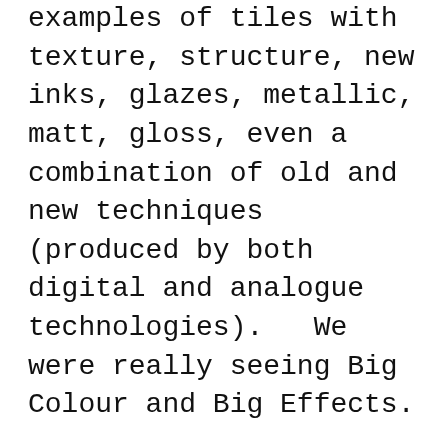And all over the show we saw examples of tiles with texture, structure, new inks, glazes, metallic, matt, gloss, even a combination of old and new techniques (produced by both digital and analogue technologies).   We were really seeing Big Colour and Big Effects.
For us, the key take away from this year's show is how important technology has become with regards to driving change in the ceramic tile industry.
For example, Xaar's 001 printhead